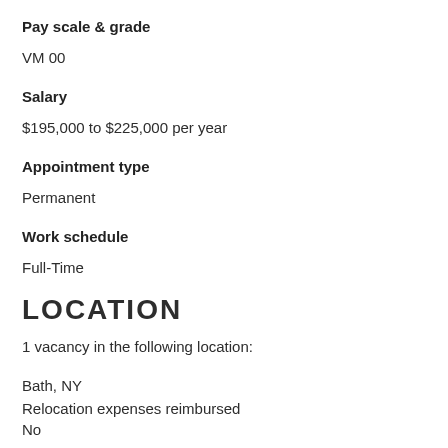Pay scale & grade
VM 00
Salary
$195,000 to $225,000 per year
Appointment type
Permanent
Work schedule
Full-Time
LOCATION
1 vacancy in the following location:
Bath, NY
Relocation expenses reimbursed
No